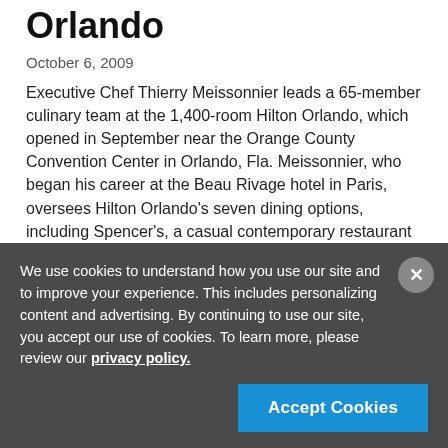Orlando
October 6, 2009
Executive Chef Thierry Meissonnier leads a 65-member culinary team at the 1,400-room Hilton Orlando, which opened in September near the Orange County Convention Center in Orlando, Fla. Meissonnier, who began his career at the Beau Rivage hotel in Paris, oversees Hilton Orlando's seven dining options, including Spencer's, a casual contemporary restaurant featuring steaks and chops. Other dining options include: The Bistro, a casual dining
…
READ MORE
We use cookies to understand how you use our site and to improve your experience. This includes personalizing content and advertising. By continuing to use our site, you accept our use of cookies. To learn more, please review our privacy policy.
Accept Cookies